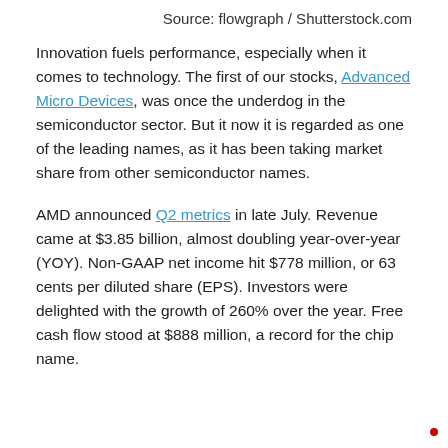Source: flowgraph / Shutterstock.com
Innovation fuels performance, especially when it comes to technology. The first of our stocks, Advanced Micro Devices, was once the underdog in the semiconductor sector. But it now it is regarded as one of the leading names, as it has been taking market share from other semiconductor names.
AMD announced Q2 metrics in late July. Revenue came at $3.85 billion, almost doubling year-over-year (YOY). Non-GAAP net income hit $778 million, or 63 cents per diluted share (EPS). Investors were delighted with the growth of 260% over the year. Free cash flow stood at $888 million, a record for the chip name.